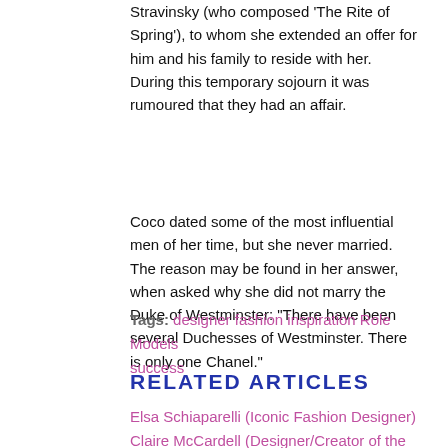Stravinsky (who composed 'The Rite of Spring'), to whom she extended an offer for him and his family to reside with her. During this temporary sojourn it was rumoured that they had an affair.
Coco dated some of the most influential men of her time, but she never married. The reason may be found in her answer, when asked why she did not marry the Duke of Westminster: "There have been several Duchesses of Westminster. There is only one Chanel."
Tags: designer fashion inspiration Role Models success
RELATED ARTICLES
Elsa Schiaparelli (Iconic Fashion Designer)
Claire McCardell (Designer/Creator of the American Look)